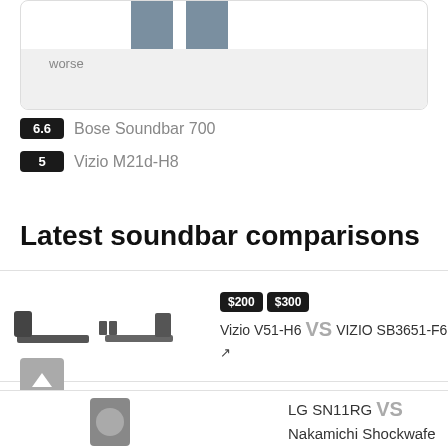[Figure (bar-chart): Partial bar chart showing two bars above a grey 'worse' baseline region]
6.6 Bose Soundbar 700
5 Vizio M21d-H8
Latest soundbar comparisons
[Figure (photo): Product images of Vizio V51-H6 and VIZIO SB3651-F6 soundbars side by side]
$200 $300 Vizio V51-H6 VS VIZIO SB3651-F6
[Figure (photo): Product image of LG SN11RG soundbar]
LG SN11RG VS Nakamichi Shockwafe